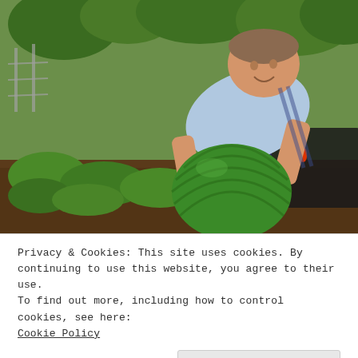[Figure (photo): A boy bending over to pick up a large watermelon in a garden. The garden has green leafy plants, vines, and some red peppers visible in the background. There is a fence and trees in the background. The boy is wearing a light blue t-shirt and dark shorts.]
Privacy & Cookies: This site uses cookies. By continuing to use this website, you agree to their use.
To find out more, including how to control cookies, see here:
Cookie Policy
Close and accept